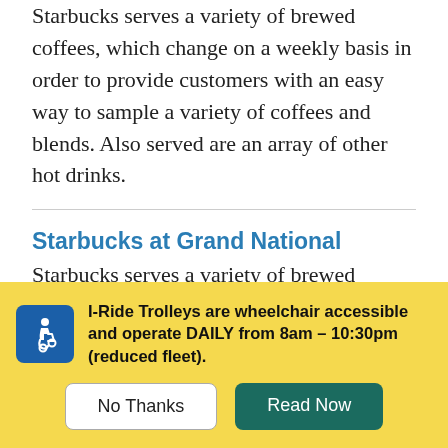Starbucks serves a variety of brewed coffees, which change on a weekly basis in order to provide customers with an easy way to sample a variety of coffees and blends. Also served are an array of other hot drinks.
Starbucks at Grand National
Starbucks serves a variety of brewed coffees, which change on a weekly basis in order to provide customers with an easy way to sample a variety of coffees and blends. Also served are an array of other hot drinks.
I-Ride Trolleys are wheelchair accessible and operate DAILY from 8am – 10:30pm (reduced fleet).
No Thanks
Read Now